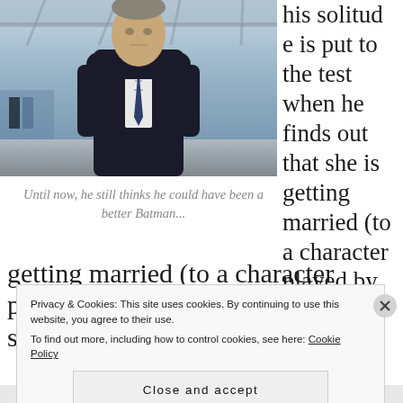[Figure (photo): Man in dark business suit and tie standing in what appears to be an airport or transit hall, looking directly at camera with serious expression]
Until now, he still thinks he could have been a better Batman...
his solitude is put to the test when he finds out that she is getting married (to a character played by Danny McBride, someone I last saw getting
Privacy & Cookies: This site uses cookies. By continuing to use this website, you agree to their use.
To find out more, including how to control cookies, see here: Cookie Policy
Close and accept